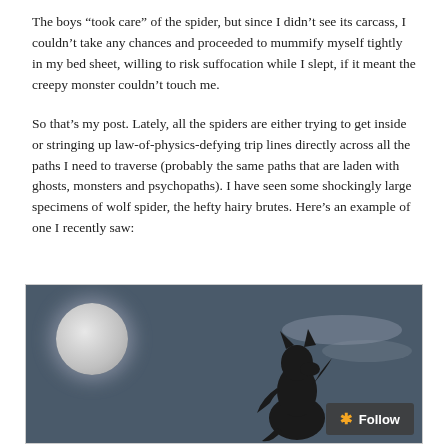The boys “took care” of the spider, but since I didn’t see its carcass, I couldn’t take any chances and proceeded to mummify myself tightly in my bed sheet, willing to risk suffocation while I slept, if it meant the creepy monster couldn’t touch me.
So that’s my post. Lately, all the spiders are either trying to get inside or stringing up law-of-physics-defying trip lines directly across all the paths I need to traverse (probably the same paths that are laden with ghosts, monsters and psychopaths). I have seen some shockingly large specimens of wolf spider, the hefty hairy brutes. Here’s an example of one I recently saw:
[Figure (photo): Dark atmospheric photo of a werewolf silhouette crouching against a stormy night sky with a large full moon on the left side, presented humorously as a 'wolf spider' example.]